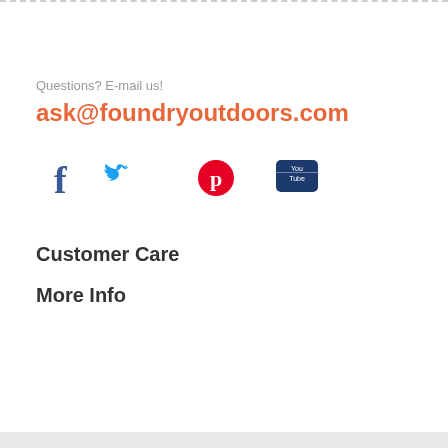Questions? E-mail us!
ask@foundryoutdoors.com
[Figure (illustration): Social media icons: Facebook, Twitter, Pinterest, YouTube, Instagram]
Customer Care
More Info